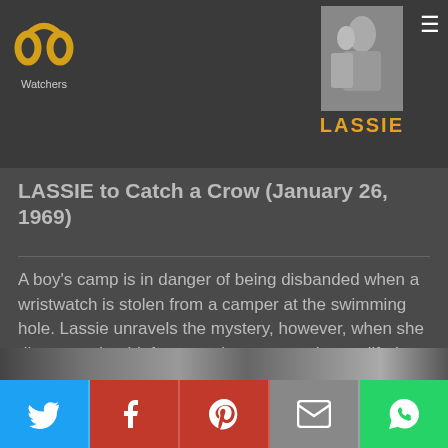Watchers — LASSIE
LASSIE to Catch a Crow (January 26, 1969)
A boy's camp is in danger of being disbanded when a wristwatch is stolen from a camper at the swimming hole. Lassie unravels the mystery, however, when she discovers the thief not another camper, but a pilfering crow.
[Figure (screenshot): Bottom portion of a black-and-white photograph showing people, partially visible at the bottom of the page]
Share buttons: Twitter, Facebook, Pinterest, Email, WhatsApp